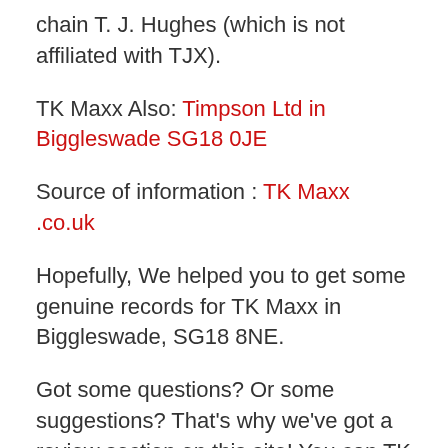chain T. J. Hughes (which is not affiliated with TJX).
TK Maxx Also: Timpson Ltd in Biggleswade SG18 0JE
Source of information : TK Maxx .co.uk
Hopefully, We helped you to get some genuine records for TK Maxx in Biggleswade, SG18 8NE.
Got some questions? Or some suggestions? That's why we've got a review section on this site! You can TK Maxx to leave a review or two down below and we'll get back to you as soon